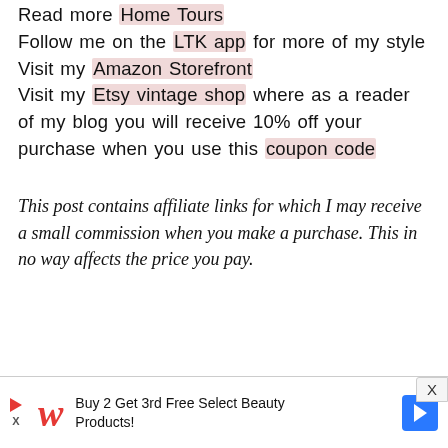Read more Home Tours
Follow me on the LTK app for more of my style
Visit my Amazon Storefront
Visit my Etsy vintage shop where as a reader of my blog you will receive 10% off your purchase when you use this coupon code
This post contains affiliate links for which I may receive a small commission when you make a purchase. This in no way affects the price you pay.
[Figure (screenshot): Advertisement bar showing Walgreens logo and 'Buy 2 Get 3rd Free Select Beauty Products!' with a blue arrow button and dismiss X]